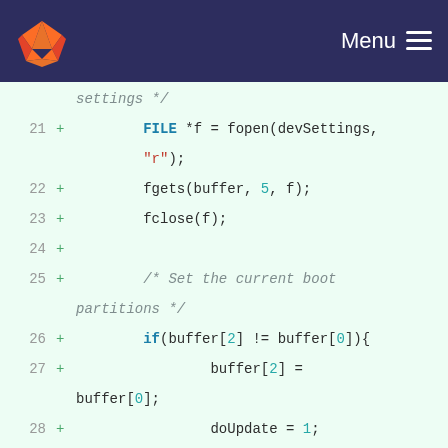GitLab header with logo and Menu
[Figure (screenshot): Code diff view showing lines 21-35 of a C file with added lines (marked with +) implementing file reading and boot partition logic]
21 + FILE *f = fopen(devSettings, "r");
22 +     fgets(buffer, 5, f);
23 +     fclose(f);
24 +
25 +     /* Set the current boot partitions */
26 +     if(buffer[2] != buffer[0]){
27 +         buffer[2] = buffer[0];
28 +         doUpdate = 1;
29 +     }
30 +
31 +     if(buffer[3] != buffer[1]){
32 +         buffer[3] = buffer[1];
33 +         doUpdate = 1;
34 +     }
35 +